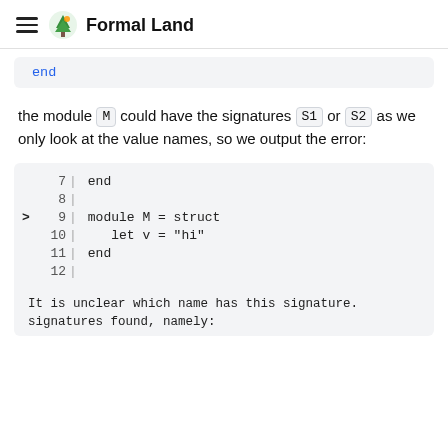Formal Land
end
the module M could have the signatures S1 or S2 as we only look at the value names, so we output the error:
7 | end
8 |
> 9 | module M = struct
10 |    let v = "hi"
11 | end
12 |
It is unclear which name has this signature. signatures found, namely: